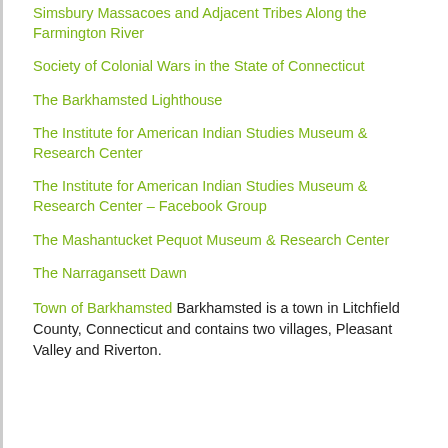Simsbury Massacoes and Adjacent Tribes Along the Farmington River
Society of Colonial Wars in the State of Connecticut
The Barkhamsted Lighthouse
The Institute for American Indian Studies Museum & Research Center
The Institute for American Indian Studies Museum & Research Center – Facebook Group
The Mashantucket Pequot Museum & Research Center
The Narragansett Dawn
Town of Barkhamsted Barkhamsted is a town in Litchfield County, Connecticut and contains two villages, Pleasant Valley and Riverton.